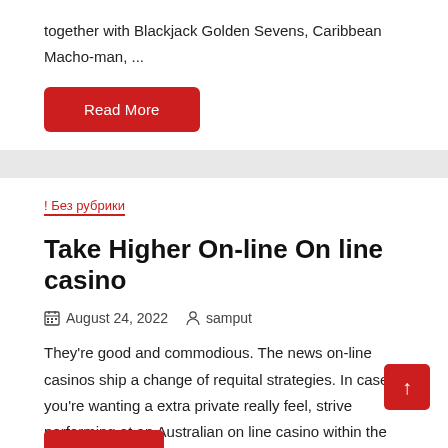together with Blackjack Golden Sevens, Caribbean Macho-man, ...
Read More
! Без рубрики
Take Higher On-line On line casino
August 24, 2022   samput
They're good and commodious. The news on-line casinos ship a change of requital strategies. In case you're wanting a extra private really feel, strive performing at an Australian on line casino within the U.S.|When wanting the trump subsist on line ...